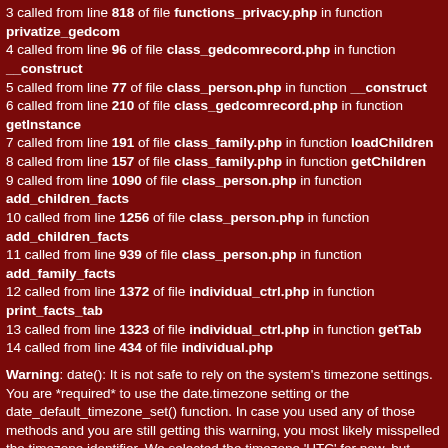3 called from line 818 of file functions_privacy.php in function privatize_gedcom
4 called from line 96 of file class_gedcomrecord.php in function __construct
5 called from line 77 of file class_person.php in function __construct
6 called from line 210 of file class_gedcomrecord.php in function getInstance
7 called from line 191 of file class_family.php in function loadChildren
8 called from line 157 of file class_family.php in function getChildren
9 called from line 1090 of file class_person.php in function add_children_facts
10 called from line 1256 of file class_person.php in function add_children_facts
11 called from line 939 of file class_person.php in function add_family_facts
12 called from line 1372 of file individual_ctrl.php in function print_facts_tab
13 called from line 1323 of file individual_ctrl.php in function getTab
14 called from line 434 of file individual.php
Warning: date(): It is not safe to rely on the system's timezone settings. You are *required* to use the date.timezone setting or the date_default_timezone_set() function. In case you used any of those methods and you are still getting this warning, you most likely misspelled the timezone identifier. We selected the timezone 'UTC' for now, but please set date.timezone to select your timezone. in /var/www/vhosts/kml-online.de/httpdocs/Stammbaum/includes/authentication.php on line 310
Warning: date(): It is not safe to rely on the system's timezone settings. You are *required* to use the date.timezone setting or the